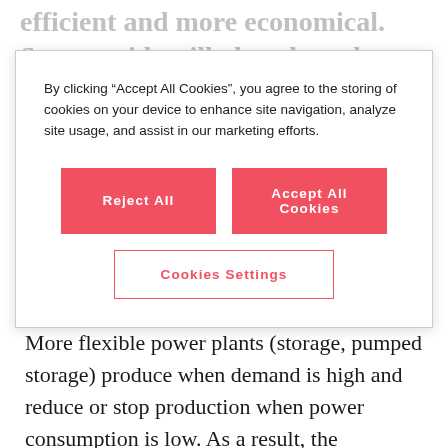efficient and more economical. Smart grids will also play a key role for absorbing the growing
By clicking “Accept All Cookies”, you agree to the storing of cookies on your device to enhance site navigation, analyze site usage, and assist in our marketing efforts.
Reject All
Accept All Cookies
Cookies Settings
branched medium and low-voltage grids. More flexible power plants (storage, pumped storage) produce when demand is high and reduce or stop production when power consumption is low. As a result, the produced electricity volume always corresponds to the power consumed. If this balance is disrupted, grid imbalances or power failures can occur.